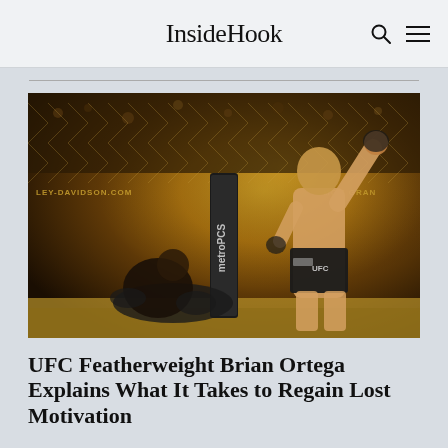InsideHook
[Figure (photo): UFC fighter Brian Ortega standing triumphant in the octagon with one arm raised, opponent kneeling on the mat, MetroPCS advertisement post visible in center, chain-link fence in background with crowd]
UFC Featherweight Brian Ortega Explains What It Takes to Regain Lost Motivation